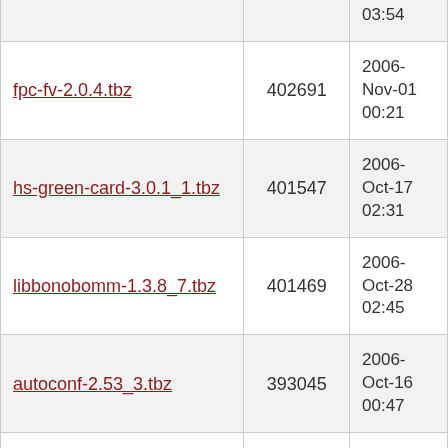| Filename | Size | Date |
| --- | --- | --- |
| (partial top row) | 02:54 (partial) |  |
| fpc-fv-2.0.4.tbz | 402691 | 2006-Nov-01 00:21 |
| hs-green-card-3.0.1_1.tbz | 401547 | 2006-Oct-17 02:31 |
| libbonobomm-1.3.8_7.tbz | 401469 | 2006-Oct-28 02:45 |
| autoconf-2.53_3.tbz | 393045 | 2006-Oct-16 00:47 |
| rudiments-0.29.tbz | 392915 | 2006-Oct-16 00:08 |
| jakarta-commons-lang-2.1.tbz | 391857 | 2006-Nov-16 09:43 |
| entity-0.7.2_2.tbz | 389145 | 2006-Oct-16 15:24 |
| (partial bottom row) |  | 2006- |